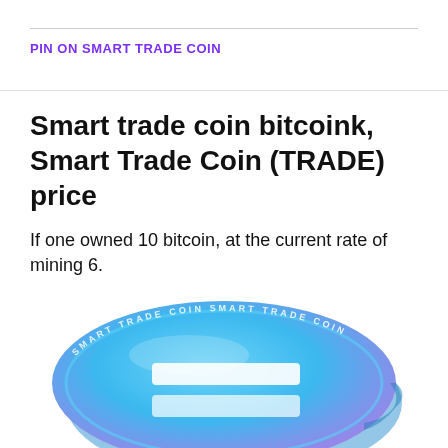PIN ON SMART TRADE COIN
Smart trade coin bitcoink, Smart Trade Coin (TRADE) price
If one owned 10 bitcoin, at the current rate of mining 6.
[Figure (illustration): Smart Trade Coin cryptocurrency coin illustration with blue and purple gradient, showing the coin logo (equal sign / double bar symbol) and 'SMART TRADE COIN' text around the rim, viewed at an angle.]